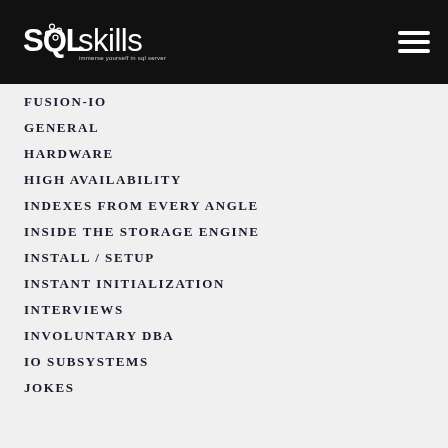SQLskills — immerse yourself in sql server
FUSION-IO
GENERAL
HARDWARE
HIGH AVAILABILITY
INDEXES FROM EVERY ANGLE
INSIDE THE STORAGE ENGINE
INSTALL / SETUP
INSTANT INITIALIZATION
INTERVIEWS
INVOLUNTARY DBA
IO SUBSYSTEMS
JOKES